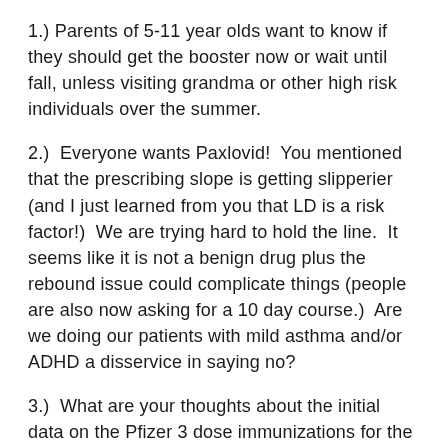1.) Parents of 5-11 year olds want to know if they should get the booster now or wait until fall, unless visiting grandma or other high risk individuals over the summer.
2.)  Everyone wants Paxlovid!  You mentioned that the prescribing slope is getting slipperier (and I just learned from you that LD is a risk factor!)  We are trying hard to hold the line.  It seems like it is not a benign drug plus the rebound issue could complicate things (people are also now asking for a 10 day course.)  Are we doing our patients with mild asthma and/or ADHD a disservice in saying no?
3.)  What are your thoughts about the initial data on the Pfizer 3 dose immunizations for the under 5s?  It seems a little underwhelming to me at this juncture.
Thank you so much for all you do.  TWiV has been instrumental in keeping us up to date, helping us make